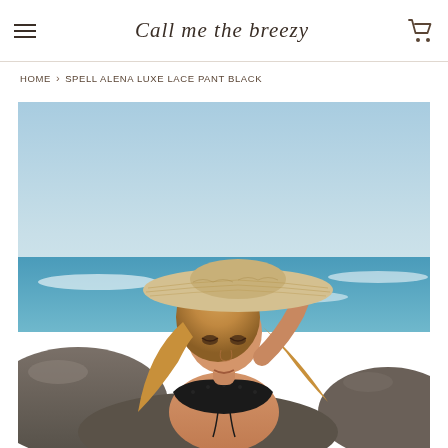Call me the breezy
HOME › SPELL ALENA LUXE LACE PANT BLACK
[Figure (photo): A blonde woman in a black lace bandeau bikini top and wide-brim straw hat sitting on rocks at the beach with ocean and blue sky in background, one hand raised to her hat]